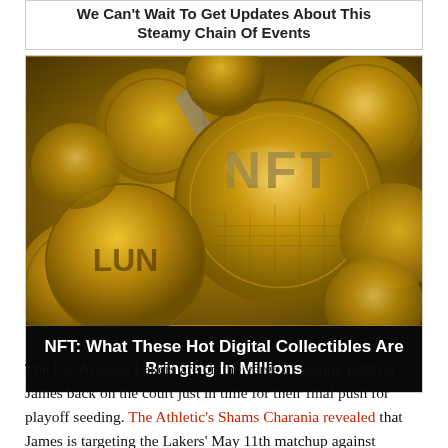We Can't Wait To Get Updates About This Steamy Chain Of Events
[Figure (photo): Pile of gold-colored NFT coins with 'NFT' text embossed on them]
NFT: What These Hot Digital Collectibles Are Bringing In Millions
The Los Angeles Lakers are on the verge of getting LeBron James back on the court just in time for their final push for playoff seeding. The Athletic's Shams Charania revealed that James is targeting the Lakers' May 11th matchup against